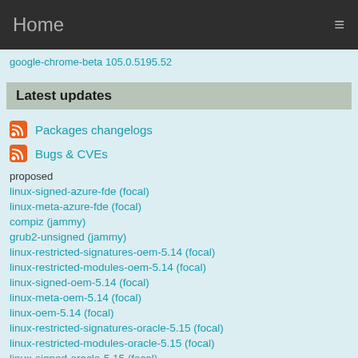Home
google-chrome-beta 105.0.5195.52
Latest updates
Packages changelogs
Bugs & CVEs
proposed
linux-signed-azure-fde (focal)
linux-meta-azure-fde (focal)
compiz (jammy)
grub2-unsigned (jammy)
linux-restricted-signatures-oem-5.14 (focal)
linux-restricted-modules-oem-5.14 (focal)
linux-signed-oem-5.14 (focal)
linux-meta-oem-5.14 (focal)
linux-oem-5.14 (focal)
linux-restricted-signatures-oracle-5.15 (focal)
linux-restricted-modules-oracle-5.15 (focal)
linux-signed-oracle-5.15 (focal)